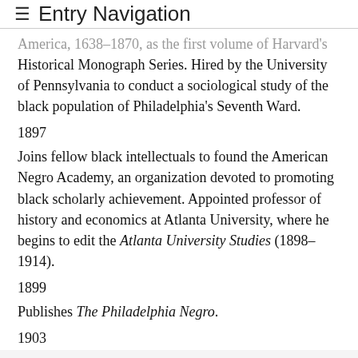≡ Entry Navigation
America, 1638–1870, as the first volume of Harvard's Historical Monograph Series. Hired by the University of Pennsylvania to conduct a sociological study of the black population of Philadelphia's Seventh Ward.
1897
Joins fellow black intellectuals to found the American Negro Academy, an organization devoted to promoting black scholarly achievement. Appointed professor of history and economics at Atlanta University, where he begins to edit the Atlanta University Studies (1898–1914).
1899
Publishes The Philadelphia Negro.
1903
Publishes The Souls of Black Folk.
1909
Publishes John Brown, a biography.